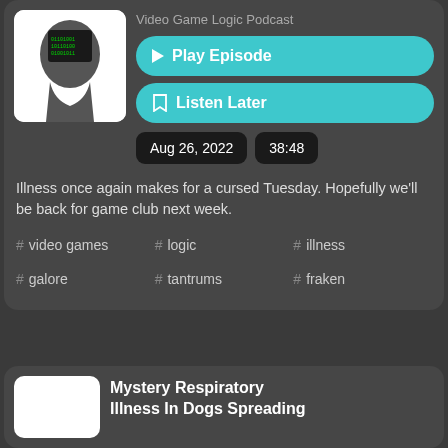Video Game Logic Podcast
Play Episode
Listen Later
Aug 26, 2022
38:48
Illness once again makes for a cursed Tuesday. Hopefully we'll be back for game club next week.
# video games
# logic
# illness
# galore
# tantrums
# fraken
Mystery Respiratory Illness In Dogs Spreading